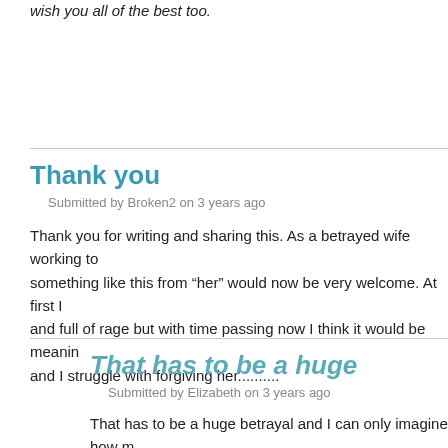wish you all of the best too.
Thank you
Submitted by Broken2 on 3 years ago
Thank you for writing and sharing this. As a betrayed wife working to something like this from “her” would now be very welcome. At first I and full of rage but with time passing now I think it would be meanin and I struggle with forgiving her..........
That has to be a huge
Submitted by Elizabeth on 3 years ago
That has to be a huge betrayal and I can only imagine how m forgive her. I appreciate your honesty about the rage and the something so complicated. You nailed what I was imagining n